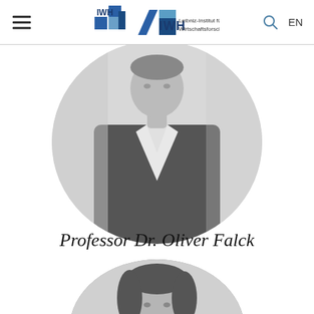IWH Leibniz-Institut für Wirtschaftsforschung Halle
[Figure (photo): Black and white circular portrait photo of Professor Dr. Oliver Falck, a man in a dark blazer and white shirt]
Professor Dr. Oliver Falck
[Figure (photo): Black and white circular portrait photo of a woman with dark wavy hair, partially cropped at bottom of page]